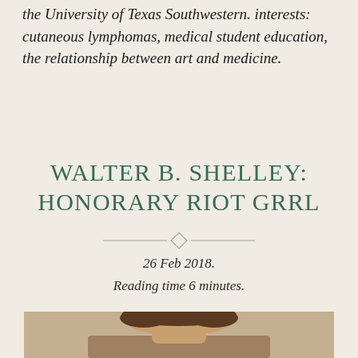the University of Texas Southwestern. interests: cutaneous lymphomas, medical student education, the relationship between art and medicine.
WALTER B. SHELLEY: HONORARY RIOT GRRL
26 Feb 2018. Reading time 6 minutes.
[Figure (photo): Portrait photograph of a man with dark curly hair, shown from roughly shoulders up against a neutral background.]